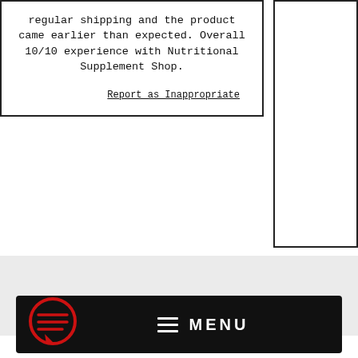regular shipping and the product came earlier than expected. Overall 10/10 experience with Nutritional Supplement Shop.
Report as Inappropriate
[Figure (screenshot): Gray background section below the review cards]
[Figure (infographic): Black menu bar with hamburger icon and MENU label, with a red chat bubble icon on the left side]